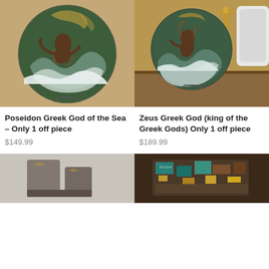[Figure (photo): Decorative plate featuring Poseidon Greek God of the Sea, displayed on a stand against a warm brown background]
[Figure (photo): Decorative plate featuring Zeus Greek God king of the Greek Gods, displayed on a stand with candlestick and white chair visible]
Poseidon Greek God of the Sea – Only 1 off piece
$149.99
Zeus Greek God (king of the Greek Gods) Only 1 off piece
$189.99
[Figure (photo): Partial view of another decorative piece, gray/stone background with dark stone-like sculpture]
[Figure (photo): Partial view of a colorful decorative piece with mixed colors including teal, brown, gold on dark background]